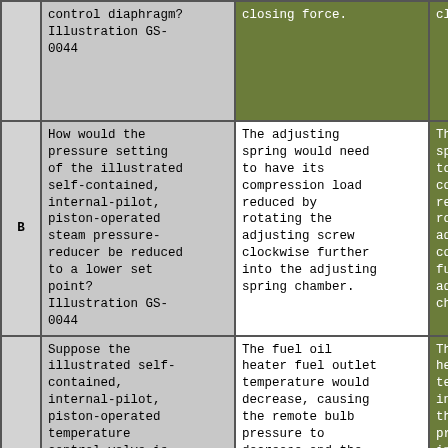|  | Question | Answer 1 | Answer 2 (partial) |
| --- | --- | --- | --- |
|  | control diaphragm? Illustration GS-0044 | closing force. | clos... |
| B | How would the pressure setting of the illustrated self-contained, internal-pilot, piston-operated steam pressure-reducer be reduced to a lower set point? Illustration GS-0044 | The adjusting spring would need to have its compression load reduced by rotating the adjusting screw clockwise further into the adjusting spring chamber. | The a spri to ha comp redu rota adju coun furth adju chamb |
|  | Suppose the illustrated self-contained, internal-pilot, piston-operated temperature control valve is part of the temperature control system for | The fuel oil heater fuel outlet temperature would decrease, causing the remote bulb pressure to decrease and the control diaphragm to flex upward and through lever | The f heate tempe incre the r pres incre cont to fl throu |